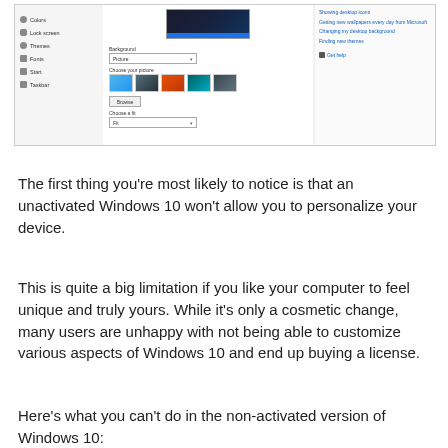[Figure (screenshot): Windows 10 Personalization settings panel showing Background options with picture thumbnails, Browse button, and Choose a fit dropdown. Left panel shows menu items: Colors, Lock screen, Themes, Fonts, Start, Taskbar. Right panel shows related links.]
The first thing you're most likely to notice is that an unactivated Windows 10 won't allow you to personalize your device.
This is quite a big limitation if you like your computer to feel unique and truly yours. While it's only a cosmetic change, many users are unhappy with not being able to customize various aspects of Windows 10 and end up buying a license.
Here's what you can't do in the non-activated version of Windows 10: